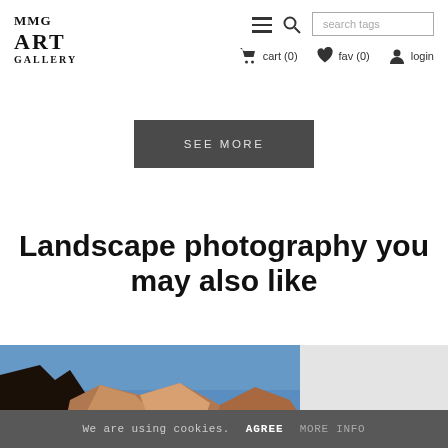MMG ART GALLERY
cart (0)  fav (0)  login
SEE MORE
Landscape photography you may also like
[Figure (photo): Landscape photo showing rocky desert cliffs with blue sky, partial view of a second image]
We are using cookies.  AGREE  MORE INFO